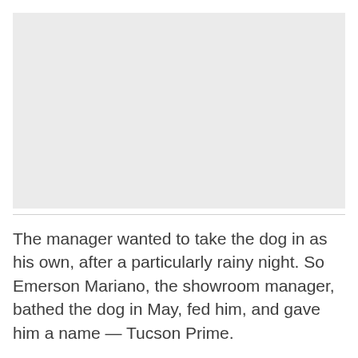[Figure (other): Large blank light gray rectangular area representing an image placeholder]
The manager wanted to take the dog in as his own, after a particularly rainy night. So Emerson Mariano, the showroom manager, bathed the dog in May, fed him, and gave him a name — Tucson Prime.